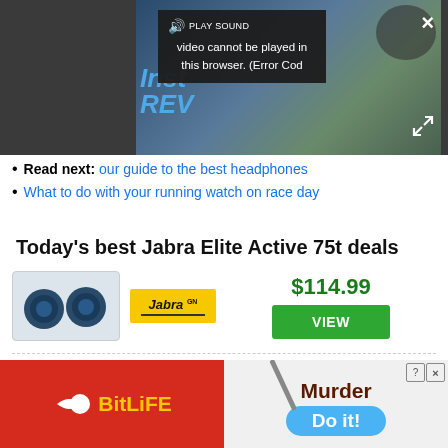[Figure (screenshot): Video player showing error message 'Video cannot be played in this browser. (Error Cod' with PLAY SOUND button, overlaid on a video thumbnail with 'Inst REV' text visible]
Read next: our guide to the best headphones
What to do with your running watch on race day
Today's best Jabra Elite Active 75t deals
[Figure (screenshot): Product deal block showing Jabra Elite Active 75t earbuds image, Jabra GN brand logo, price $114.99 and green VIEW button]
REDUCED PRICE
[Figure (screenshot): Advertisement banner: BitLife app ad on left (red background with yellow BitLife logo), Murder 'Do it!' game ad on right]